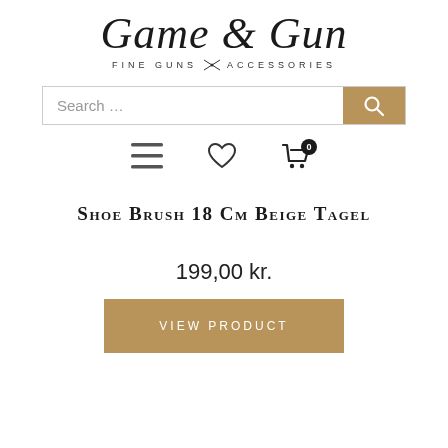[Figure (logo): Game & Gun logo with script lettering and tagline 'Fine Guns & Accessories' with crossed guns icon]
[Figure (screenshot): Search bar with text 'Search ...' and a tan/gold search button with magnifying glass icon]
[Figure (other): Navigation icons: hamburger menu, heart/wishlist icon, shopping cart with '0' badge]
Shoe Brush 18 Cm Beige Tagel
199,00 kr.
VIEW PRODUCT